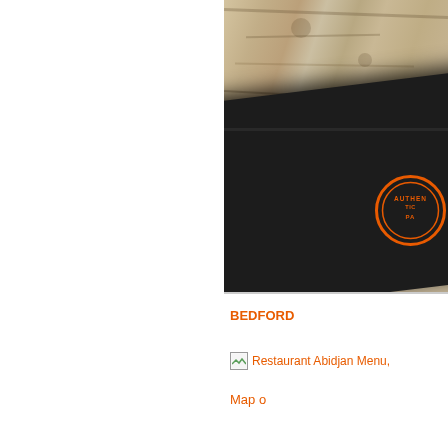[Figure (photo): Close-up photo of a dark/black restaurant menu cover with an orange circular logo/badge sitting on a marble surface. The top portion shows the marble table surface. The menu cover is dark leather or faux-leather with an embossed orange circular stamp reading 'AUTHENTIC' and partial other text.]
BEDFORD
[Figure (other): Broken image placeholder with alt text: Restaurant Abidjan Menu,]
Map o